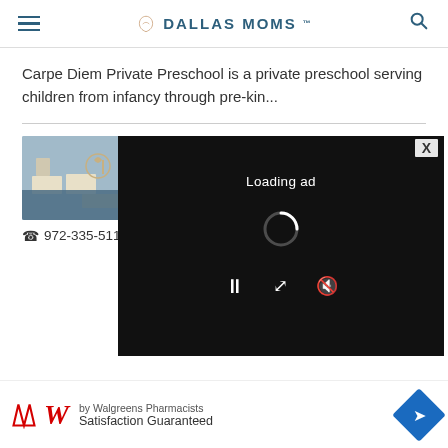DALLAS MOMS
Carpe Diem Private Preschool is a private preschool serving children from infancy through pre-kin...
[Figure (screenshot): Listing for 7 Notes: Yamaha Music School Dallas with thumbnail image of music classroom, category tags, address 278... 75034, phone 972-335-5112, and an ad overlay showing 'Loading ad' with spinner and media controls]
[Figure (screenshot): Walgreens advertisement banner at bottom: 'by Walgreens Pharmacists' and 'Satisfaction Guaranteed' with Walgreens logo and navigation icon]